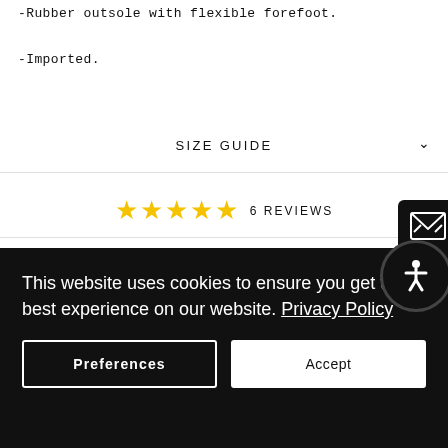-Rubber outsole with flexible forefoot.
-Imported.
SIZE GUIDE
★★★★★ 6 REVIEWS
Share  Tweet  Pin it
This website uses cookies to ensure you get the best experience on our website. Privacy Policy
Preferences
Accept